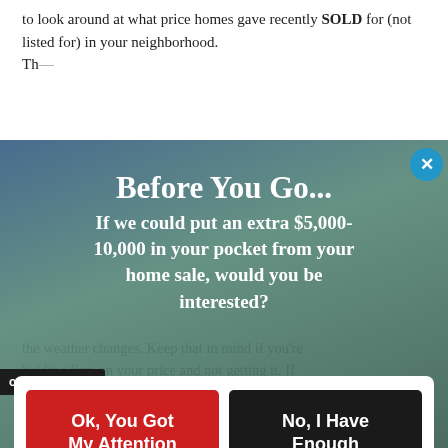to look around at what price homes gave recently SOLD for (not listed for) in your neighborhood. Th...
Before You Go...
If we could put an extra $5,000-10,000 in your pocket from your home sale, would you be interested?
Ok, You Got My Attention
No, I Have Enough Money
the weather changes. Keep that in mind if you're holding firm on your price and not getting it. If you wait too long, you may end up trying to sell
[Figure (screenshot): OptinMonster logo bar at bottom left]